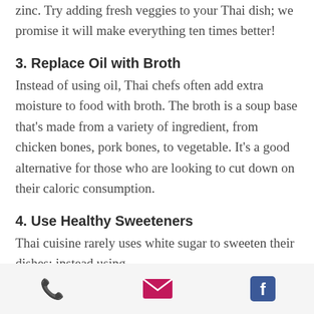zinc. Try adding fresh veggies to your Thai dish; we promise it will make everything ten times better!
3. Replace Oil with Broth
Instead of using oil, Thai chefs often add extra moisture to food with broth. The broth is a soup base that's made from a variety of ingredient, from chicken bones, pork bones, to vegetable. It's a good alternative for those who are looking to cut down on their caloric consumption.
4. Use Healthy Sweeteners
Thai cuisine rarely uses white sugar to sweeten their dishes; instead using
[phone] [email] [facebook]